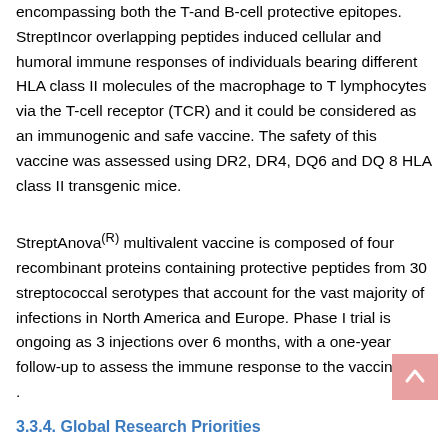encompassing both the T-and B-cell protective epitopes. StreptIncor overlapping peptides induced cellular and humoral immune responses of individuals bearing different HLA class II molecules of the macrophage to T lymphocytes via the T-cell receptor (TCR) and it could be considered as an immunogenic and safe vaccine. The safety of this vaccine was assessed using DR2, DR4, DQ6 and DQ 8 HLA class II transgenic mice.
StreptAnova(R) multivalent vaccine is composed of four recombinant proteins containing protective peptides from 30 streptococcal serotypes that account for the vast majority of infections in North America and Europe. Phase I trial is ongoing as 3 injections over 6 months, with a one-year follow-up to assess the immune response to the vaccine [28] .
3.3.4. Global Research Priorities